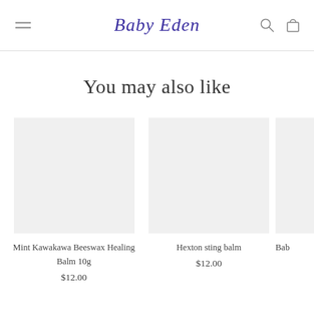Baby Eden
You may also like
Mint Kawakawa Beeswax Healing Balm 10g
$12.00
Hexton sting balm
$12.00
Bab